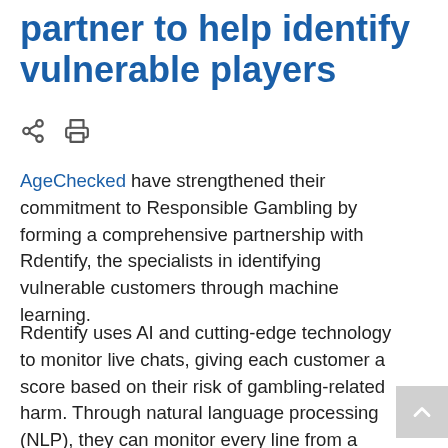partner to help identify vulnerable players
AgeChecked have strengthened their commitment to Responsible Gambling by forming a comprehensive partnership with Rdentify, the specialists in identifying vulnerable customers through machine learning.
Rdentify uses AI and cutting-edge technology to monitor live chats, giving each customer a score based on their risk of gambling-related harm. Through natural language processing (NLP), they can monitor every line from a company's live chat and use machine learning models to highlight early